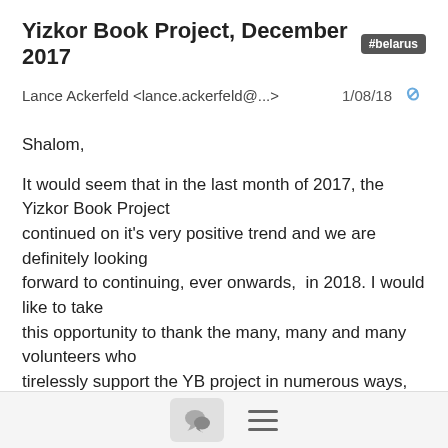Yizkor Book Project, December 2017 #belarus
Lance Ackerfeld <lance.ackerfeld@...>   1/08/18
Shalom,
It would seem that in the last month of 2017, the Yizkor Book Project continued on it's very positive trend and we are definitely looking forward to continuing, ever onwards,  in 2018. I would like to take this opportunity to thank the many, many and many volunteers who tirelessly support the YB project in numerous ways, to the professional translations who help reveal the hidden treasures in the Yizkor books and, finally, to the generous donors, without whom, we couldn't go forward with our projects.
[Figure (screenshot): Footer bar with chat bubble icon button and hamburger menu icon]